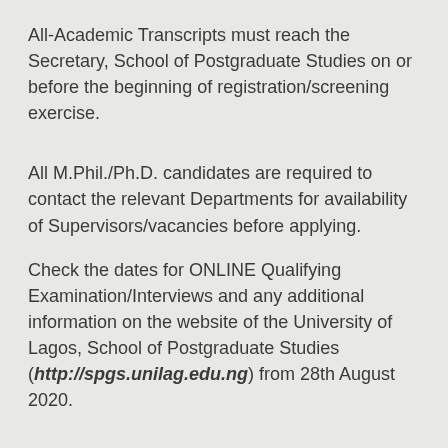All-Academic Transcripts must reach the Secretary, School of Postgraduate Studies on or before the beginning of registration/screening exercise.
All M.Phil./Ph.D. candidates are required to contact the relevant Departments for availability of Supervisors/vacancies before applying.
Check the dates for ONLINE Qualifying Examination/Interviews and any additional information on the website of the University of Lagos, School of Postgraduate Studies (http://spgs.unilag.edu.ng) from 28th August 2020.
For further information, please contact through the following: